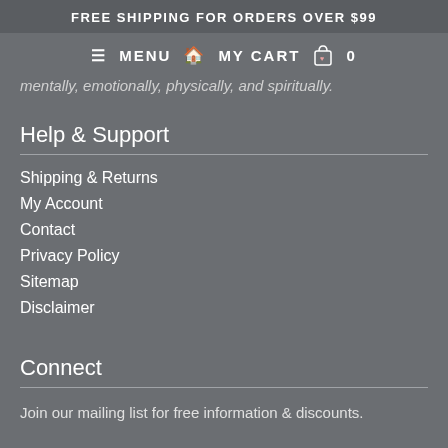FREE SHIPPING FOR ORDERS OVER $99
≡ MENU  🏠 MY CART 🛍 0
mentally, emotionally, physically, and spiritually.
Help & Support
Shipping & Returns
My Account
Contact
Privacy Policy
Sitemap
Disclaimer
Connect
Join our mailing list for free information & discounts.